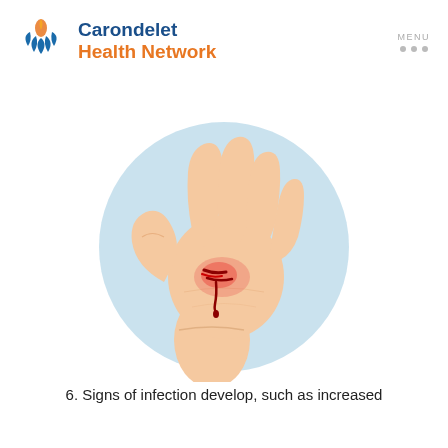[Figure (logo): Carondelet Health Network logo with flame and leaf icon in blue and orange]
[Figure (illustration): Medical illustration of a human hand with a laceration wound on the palm, showing redness and blood, set against a light blue circular background]
6. Signs of infection develop, such as increased